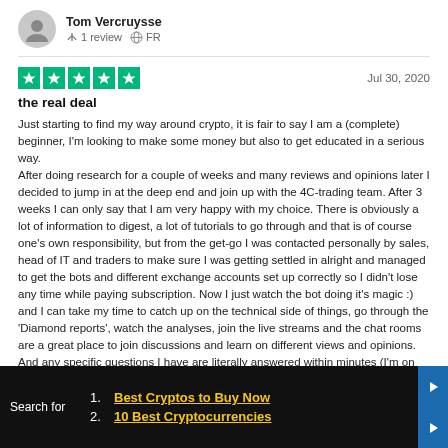Tom Vercruysse
1 review  FR
Jul 30, 2020
the real deal
Just starting to find my way around crypto, it is fair to say I am a (complete) beginner, I'm looking to make some money but also to get educated in a serious way.
After doing research for a couple of weeks and many reviews and opinions later I decided to jump in at the deep end and join up with the 4C-trading team. After 3 weeks I can only say that I am very happy with my choice. There is obviously a lot of information to digest, a lot of tutorials to go through and that is of course one's own responsibility, but from the get-go I was contacted personally by sales, head of IT and traders to make sure I was getting settled in alright and managed to get the bots and different exchange accounts set up correctly so I didn't lose any time while paying subscription. Now I just watch the bot doing it's magic :) and I can take my time to catch up on the technical side of things, go through the 'Diamond reports', watch the analyses, join the live streams and the chat rooms are a great place to join discussions and learn on different views and opinions. And any specific questions I have are literally answered within minutes (I'm on CET), what a support!
So, to conclude: if you're serious about this, looking for a professional team, get a return from the start and an opportunity to learn all about it, 4C seems to be the real deal.
Search for
1. Best Cryptos to Buy Now
2. 10 Best Cryptocurrencies